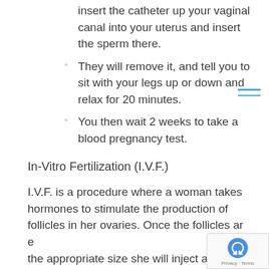insert the catheter up your vaginal canal into your uterus and insert the sperm there.
They will remove it, and tell you to sit with your legs up or down and relax for 20 minutes.
You then wait 2 weeks to take a blood pregnancy test.
In-Vitro Fertilization (I.V.F.)
I.V.F. is a procedure where a woman takes hormones to stimulate the production of follicles in her ovaries. Once the follicles are the appropriate size she will inject a “trigger shot” to mature the eggs inside the follicles. It